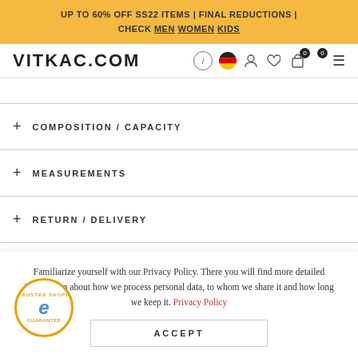UP TO 60% OFF SS22 ITEMS | FINAL REDUCTIONS | CHECK MEN WOMEN KIDS
VITKAC.COM
+ COMPOSITION / CAPACITY
+ MEASUREMENTS
+ RETURN / DELIVERY
+ AVAILABLE IN STORES
Familiarize yourself with our Privacy Policy. There you will find more detailed information about how we process personal data, to whom we share it and how long we keep it. Privacy Policy
ACCEPT